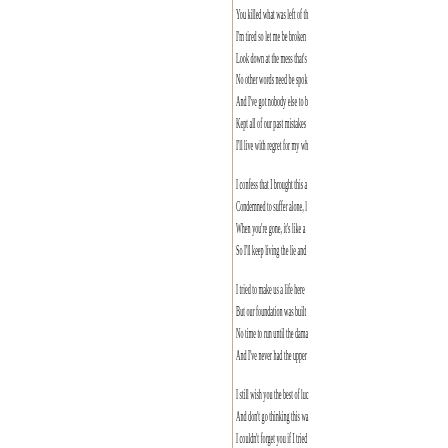You killed what was left of th
I'm tired so let me be broken
Look down at the mess that's
No other words need be spok
And I've got nobody else to b
Kept all of our past mistakes
I'll live with regret for my wh
I confess that I brought this a
Condemned to suffer alone, l
When you're gone, it's like a
So I'll keep living the lie and
I tried to make us a life here
But our foundation was built
No time to run until the dama
And I've never had the upper
I still wish you the best of luc
And don't go thinking this wa
I couldn't forget you if I tried
You killed what was left of th
I'm tired so let me be broken
Look down at the mess that's